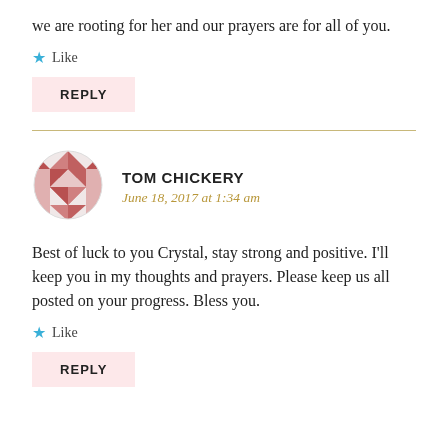we are rooting for her and our prayers are for all of you.
Like
REPLY
[Figure (illustration): Circular avatar with a geometric quilt-like pattern in muted red/mauve tones with diamond and triangle shapes]
TOM CHICKERY
June 18, 2017 at 1:34 am
Best of luck to you Crystal, stay strong and positive. I'll keep you in my thoughts and prayers. Please keep us all posted on your progress. Bless you.
Like
REPLY